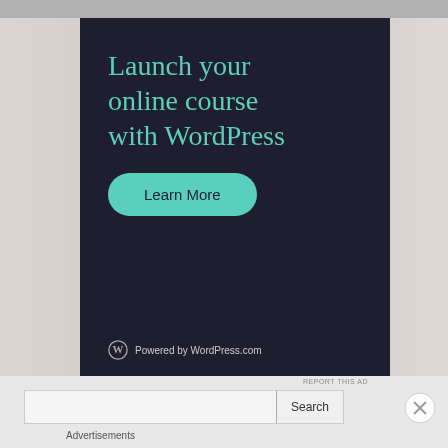[Figure (screenshot): WordPress.com advertisement with dark navy background. Headline reads 'Launch your online course with WordPress' in teal/mint colored serif font. A teal rounded 'Learn More' button below the headline. WordPress logo and 'Powered by WordPress.com' text at the bottom.]
REPORT THIS AD
Search
Advertisements
[Figure (screenshot): Victoria's Secret advertisement banner: pink background with woman's face on left, VS logo in center, 'SHOP THE COLLECTION' text and 'SHOP NOW' button on white background on right.]